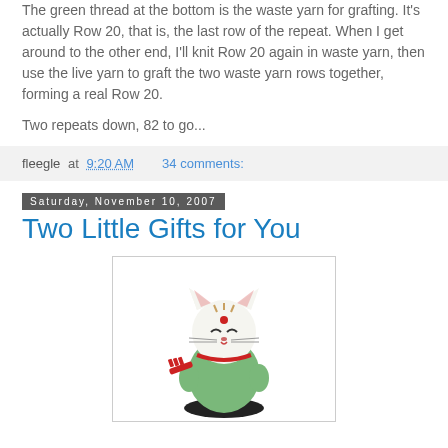The green thread at the bottom is the waste yarn for grafting. It's actually Row 20, that is, the last row of the repeat. When I get around to the other end, I'll knit Row 20 again in waste yarn, then use the live yarn to graft the two waste yarn rows together, forming a real Row 20.
Two repeats down, 82 to go...
fleegle at 9:20 AM    34 comments:
Saturday, November 10, 2007
Two Little Gifts for You
[Figure (photo): A small ceramic lucky cat (maneki-neko) figurine with a green body, white face with red facial features, holding a red comb/brush, sitting on a black base.]